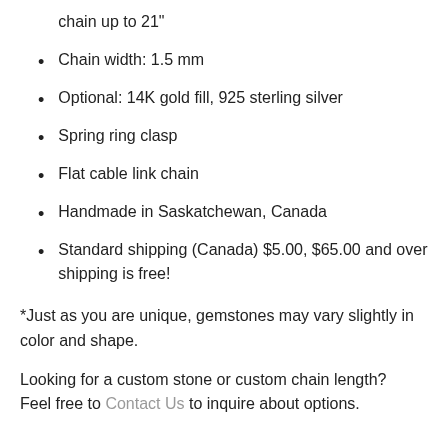chain up to 21"
Chain width: 1.5 mm
Optional: 14K gold fill, 925 sterling silver
Spring ring clasp
Flat cable link chain
Handmade in Saskatchewan, Canada
Standard shipping (Canada) $5.00, $65.00 and over shipping is free!
*Just as you are unique, gemstones may vary slightly in color and shape.
Looking for a custom stone or custom chain length? Feel free to Contact Us to inquire about options.